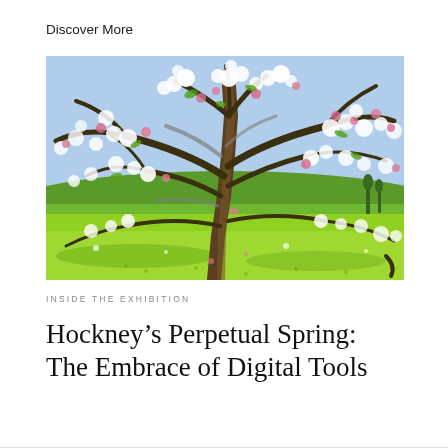Discover More
[Figure (illustration): A colorful digital painting of a blossoming tree with white and pink flowers set against a blue sky, with a bright green field in the background. The style is loose and painterly, characteristic of David Hockney's iPad artwork.]
INSIDE THE EXHIBITION
Hockney’s Perpetual Spring: The Embrace of Digital Tools